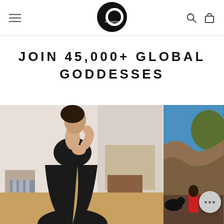erikapreus [logo] navigation header with hamburger menu, search icon, and bag icon
JOIN 45,000+ GLOBAL GODDESSES
[Figure (photo): Two side-by-side social media style photos. Left photo: A woman wearing a black crop top and black high-slit skirt posing indoors. Right photo: An outdoor rocky landscape scene with a person in a red jacket. A chat support button with three dots appears in the lower right of the right photo.]